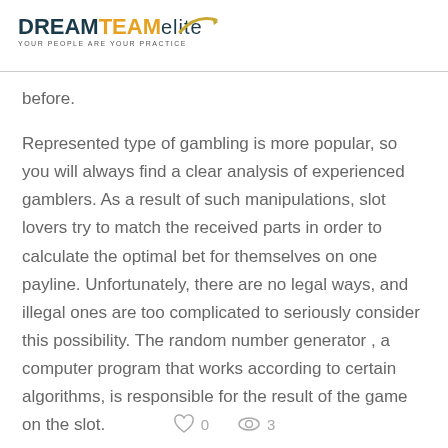DREAM TEAM elite — YOUR PEOPLE ARE YOUR PRACTICE
before.
Represented type of gambling is more popular, so you will always find a clear analysis of experienced gamblers. As a result of such manipulations, slot lovers try to match the received parts in order to calculate the optimal bet for themselves on one payline. Unfortunately, there are no legal ways, and illegal ones are too complicated to seriously consider this possibility. The random number generator , a computer program that works according to certain algorithms, is responsible for the result of the game on the slot.
0   3